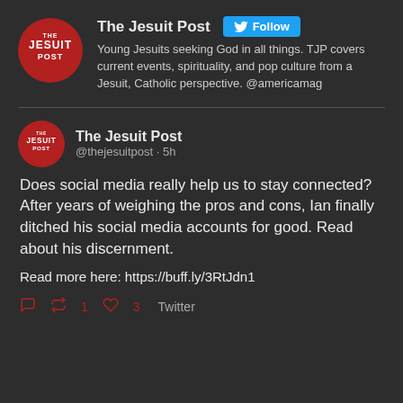[Figure (screenshot): The Jesuit Post Twitter profile header with red circular logo, account name, Follow button, and bio text]
The Jesuit Post
Young Jesuits seeking God in all things. TJP covers current events, spirituality, and pop culture from a Jesuit, Catholic perspective. @americamag
[Figure (screenshot): The Jesuit Post tweet with red circular logo, handle @thejesuitpost, 5h timestamp, tweet body text, link, and action icons]
The Jesuit Post
@thejesuitpost · 5h
Does social media really help us to stay connected? After years of weighing the pros and cons, Ian finally ditched his social media accounts for good. Read about his discernment.
Read more here: https://buff.ly/3RtJdn1
1  3  Twitter